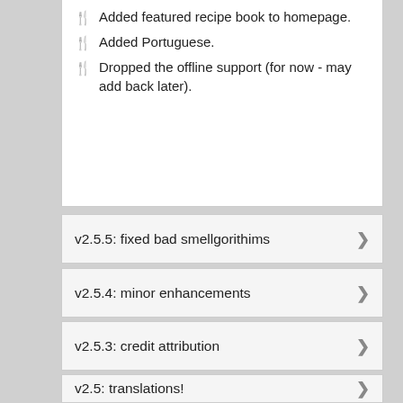Added featured recipe book to homepage.
Added Portuguese.
Dropped the offline support (for now - may add back later).
v2.5.5: fixed bad smellgorithims
v2.5.4: minor enhancements
v2.5.3: credit attribution
v2.5: translations!
v2.4.8 released
v2.4.7: unit conversions!
v2.4.6 released
v2.4.4/5 released + website updates
Website updated